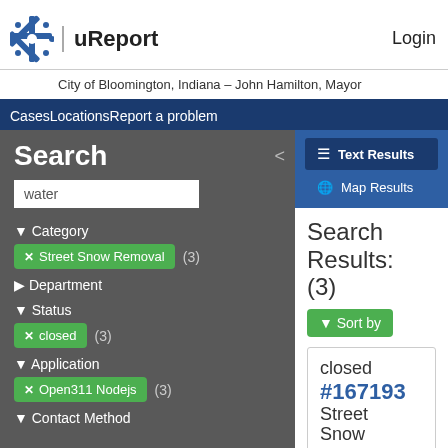uReport   Login
City of Bloomington, Indiana – John Hamilton, Mayor
CasesLocationsReport a problem
Search
water
Category
Street Snow Removal  (3)
Department
Status
closed  (3)
Application
Open311 Nodejs  (3)
Contact Method
Text Results
Map Results
Search Results: (3)
Sort by
closed #167193 Street Snow